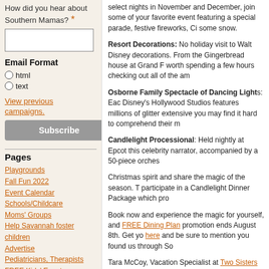How did you hear about Southern Mamas? *
Email Format
html
text
View previous campaigns.
Subscribe
Pages
Playgrounds
Fall Fun 2022
Event Calendar
Schools/Childcare
Moms' Groups
Help Savannah foster children
Advertise
Pediatricians, Therapists
FREE Kids' Events
Mommy & Me
Autism/Asperger's Resources
Homeschool Resources
select nights in November and December, join some of your favorite event featuring a special parade, festive fireworks, Ci some snow.
Resort Decorations: No holiday visit to Walt Disney decorations. From the Gingerbread house at Grand F worth spending a few hours checking out all of the am
Osborne Family Spectacle of Dancing Lights: Eac Disney's Hollywood Studios features millions of glitter extensive you may find it hard to comprehend their m
Candlelight Processional: Held nightly at Epcot this celebrity narrator, accompanied by a 50-piece orches
Christmas spirit and share the magic of the season. T participate in a Candlelight Dinner Package which pro
Book now and experience the magic for yourself, and FREE Dining Plan promotion ends August 8th. Get yo here and be sure to mention you found us through So
Tara McCoy, Vacation Specialist at Two Sisters Trave
843.284.3241
Become a Facebook fan at facebook.com/twosisterst
Tara McCoy is a SouthernMamas.com advertiser.